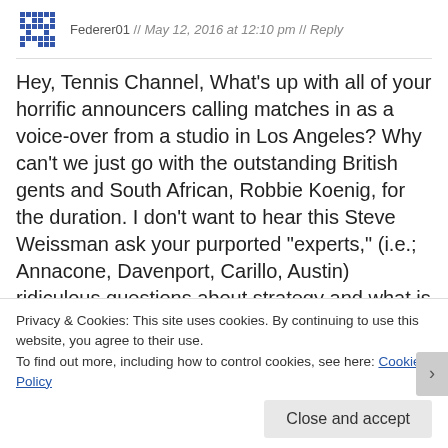Federer01 // May 12, 2016 at 12:10 pm // Reply
Hey, Tennis Channel, What's up with all of your horrific announcers calling matches in as a voice-over from a studio in Los Angeles? Why can't we just go with the outstanding British gents and South African, Robbie Koenig, for the duration. I don't want to hear this Steve Weissman ask your purported "experts," (i.e.; Annacone, Davenport, Carillo, Austin) ridiculous questions about strategy and what is going on in a match that they are not even at. Leave be the competent, above mentioned, announcers for the duration so we can leave the mute button alone and
Privacy & Cookies: This site uses cookies. By continuing to use this website, you agree to their use.
To find out more, including how to control cookies, see here: Cookie Policy